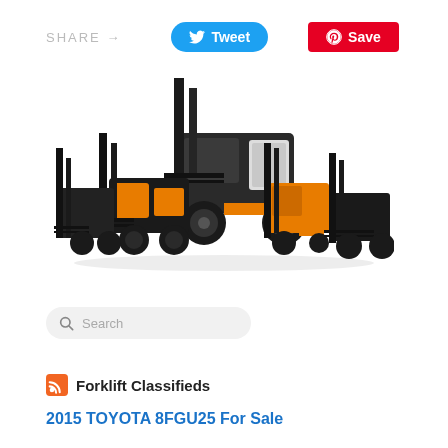SHARE →   Tweet   Save
[Figure (photo): Group of Toyota and other brand forklifts arranged together, including orange electric, LPG, and large diesel models]
Search
Forklift Classifieds
2015 TOYOTA 8FGU25 For Sale